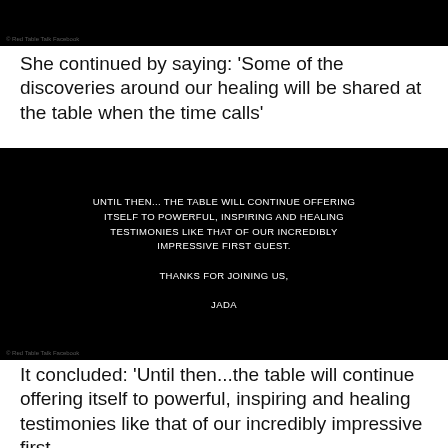[Figure (screenshot): Black image block at top with © Red Table Talk Facebook watermark]
© Red Table Talk Facebook
She continued by saying: 'Some of the discoveries around our healing will be shared at the table when the time calls'
[Figure (screenshot): Black image with white text: UNTIL THEN... THE TABLE WILL CONTINUE OFFERING ITSELF TO POWERFUL, INSPIRING AND HEALING TESTIMONIES LIKE THAT OF OUR INCREDIBLY IMPRESSIVE FIRST GUEST. THANKS FOR JOINING US, JADA]
© Red Table Talk Facebook
It concluded: 'Until then...the table will continue offering itself to powerful, inspiring and healing testimonies like that of our incredibly impressive first